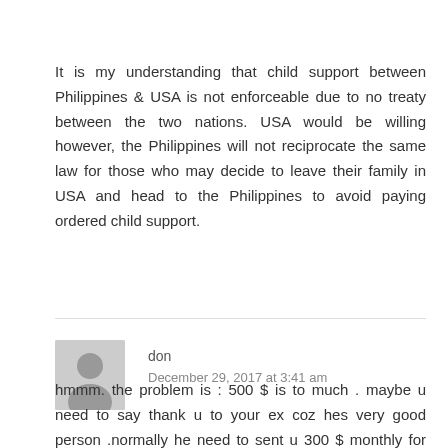It is my understanding that child support between Philippines & USA is not enforceable due to no treaty between the two nations. USA would be willing however, the Philippines will not reciprocate the same law for those who may decide to leave their family in USA and head to the Philippines to avoid paying ordered child support.
don
December 29, 2017 at 3:41 am
hmmm. the problem is : 500 $ is to much . maybe u need to say thank u to your ex coz hes very good person .normally he need to sent u 300 $ monthly for two kids.